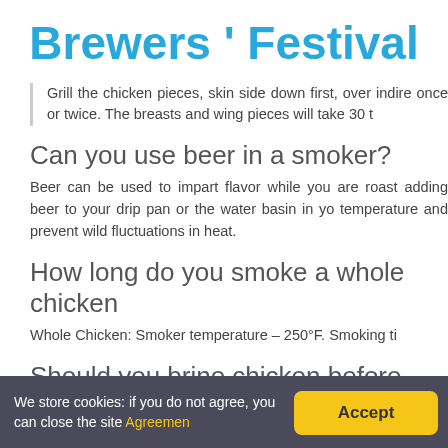Brewers ' Festival
Grill the chicken pieces, skin side down first, over indire once or twice. The breasts and wing pieces will take 30 t
Can you use beer in a smoker?
Beer can be used to impart flavor while you are roast adding beer to your drip pan or the water basin in yo temperature and prevent wild fluctuations in heat.
How long do you smoke a whole chicken
Whole Chicken: Smoker temperature – 250°F. Smoking ti
Should you brine chicken before smoking
If you brine the chicken before smoking, you can that
We store cookies: if you do not agree, you can close the site Agreemen
Accept